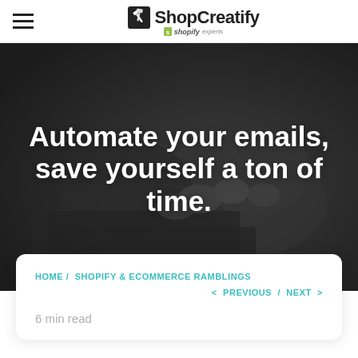ShopCreatify — shopify experts
[Figure (photo): Black and white photo of hands typing on a laptop keyboard, serving as a hero background image]
Automate your emails, save yourself a ton of time.
HOME / SHOPIFY & ECOMMERCE RAMBLINGS   < PREVIOUS / NEXT >
6 min read